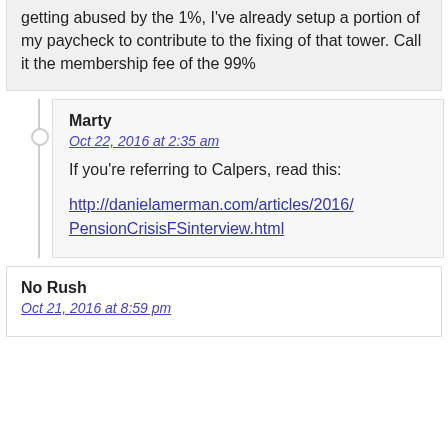getting abused by the 1%, I've already setup a portion of my paycheck to contribute to the fixing of that tower. Call it the membership fee of the 99%
Marty
Oct 22, 2016 at 2:35 am
If you're referring to Calpers, read this:
http://danielamerman.com/articles/2016/PensionCrisisFSinterview.html
No Rush
Oct 21, 2016 at 8:59 pm